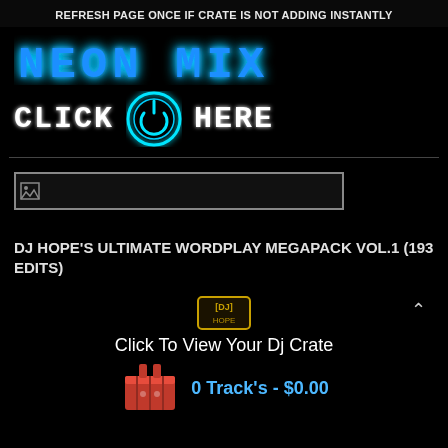REFRESH PAGE ONCE IF CRATE IS NOT ADDING INSTANTLY
[Figure (logo): Neon MIX logo text in blue glowing stylized font]
[Figure (illustration): CLICK HERE button with glowing blue power button icon in center]
[Figure (other): Broken image placeholder in a rectangle box]
DJ HOPE'S ULTIMATE WORDPLAY MEGAPACK VOL.1 (193 EDITS)
[Figure (logo): DJ Hope logo badge icon]
Click To View Your Dj Crate
[Figure (illustration): Red DJ crate icon]
0 Track's - $0.00